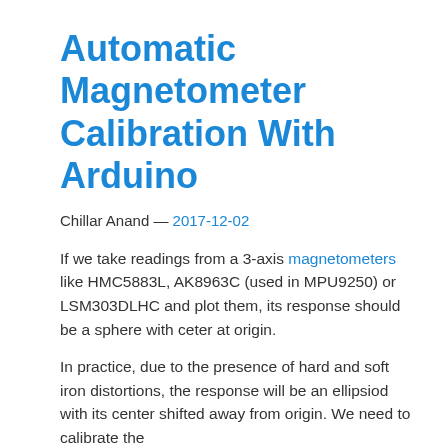Automatic Magnetometer Calibration With Arduino
Chillar Anand — 2017-12-02
If we take readings from a 3-axis magnetometers like HMC5883L, AK8963C (used in MPU9250) or LSM303DLHC and plot them, its response should be a sphere with ceter at origin.
In practice, due to the presence of hard and soft iron distortions, the response will be an ellipsiod with its center shifted away from origin. We need to calibrate the